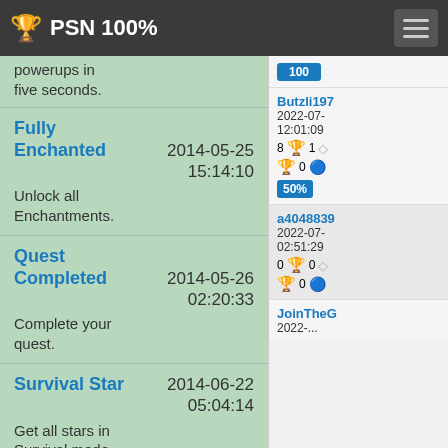🏆 PSN 100%
powerups in five seconds.
Fully Enchanted — 2014-05-25 15:14:10 — Unlock all Enchantments.
Quest Completed — 2014-05-26 02:20:33 — Complete your quest.
Survival Star — 2014-06-22 05:04:14 — Get all stars in Survival mode.
Butzli197 2022-07-... 12:01:09 8 🏆 1 ... 🏆 0 ... 50%
a4048839 2022-07-... 02:51:29 0 🏆 0 ... 🏆 0 ...
JoinTheG 2022-...